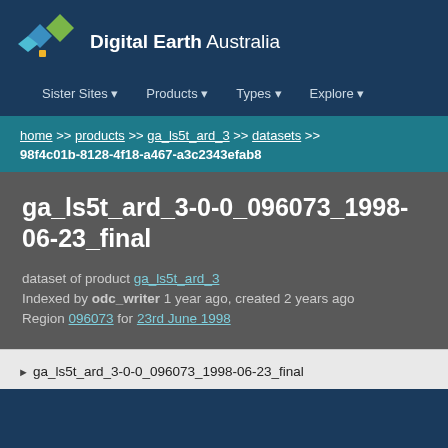[Figure (logo): Digital Earth Australia logo with diamond shapes in blue, green, and yellow, followed by text 'Digital Earth Australia']
Sister Sites ▼   Products ▼   Types ▼   Explore ▼
home >> products >> ga_ls5t_ard_3 >> datasets >> 98f4c01b-8128-4f18-a467-a3c2343efab8
ga_ls5t_ard_3-0-0_096073_1998-06-23_final
dataset of product ga_ls5t_ard_3
Indexed by odc_writer 1 year ago, created 2 years ago
Region 096073 for 23rd June 1998
▶ ga_ls5t_ard_3-0-0_096073_1998-06-23_final